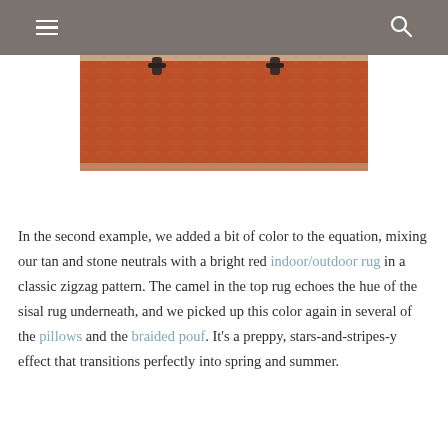≡  🔍
[Figure (photo): Close-up photograph of a red/terracotta zigzag-pattern indoor/outdoor rug with dark metal rug clips visible at the top edge.]
In the second example, we added a bit of color to the equation, mixing our tan and stone neutrals with a bright red indoor/outdoor rug in a classic zigzag pattern. The camel in the top rug echoes the hue of the sisal rug underneath, and we picked up this color again in several of the pillows and the braided pouf. It's a preppy, stars-and-stripes-y effect that transitions perfectly into spring and summer.